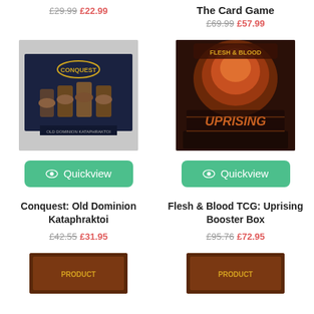£29.99 £22.99 (top left product price, partially visible)
The Card Game  £69.99 £57.99 (top right product, partially visible)
[Figure (photo): Product box for Conquest: Old Dominion Kataphraktoi — a board game miniatures box showing armored cavalry figures]
[Figure (photo): Product box for Flesh & Blood TCG: Uprising Booster Box — dark orange/brown box with fire swirl art and 'UPRISING' text]
Quickview (left button)
Quickview (right button)
Conquest: Old Dominion Kataphraktoi
£42.55 £31.95
Flesh & Blood TCG: Uprising Booster Box
£95.76 £72.95
[Figure (photo): Bottom-left partially visible product image]
[Figure (photo): Bottom-right partially visible product image]